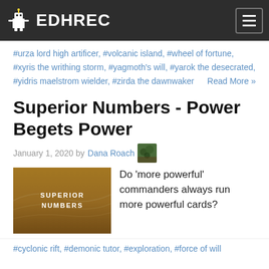EDHREC
#urza lord high artificer, #volcanic island, #wheel of fortune, #xyris the writhing storm, #yagmoth's will, #yarok the desecrated, #yidris maelstrom wielder, #zirda the dawnwaker    Read More »
Superior Numbers - Power Begets Power
January 1, 2020 by Dana Roach
[Figure (photo): Superior Numbers article thumbnail — sandy desert texture with text 'SUPERIOR NUMBERS' overlaid]
Do 'more powerful' commanders always run more powerful cards?
#cyclonic rift, #demonic tutor, #exploration, #force of will